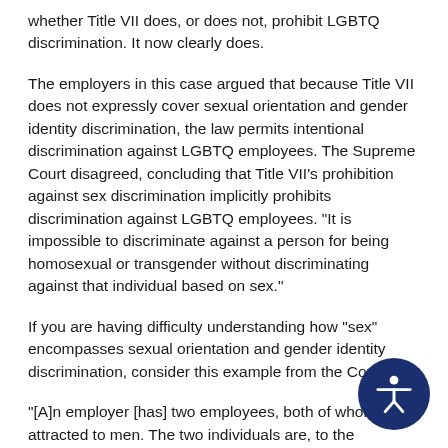whether Title VII does, or does not, prohibit LGBTQ discrimination. It now clearly does.
The employers in this case argued that because Title VII does not expressly cover sexual orientation and gender identity discrimination, the law permits intentional discrimination against LGBTQ employees. The Supreme Court disagreed, concluding that Title VII's prohibition against sex discrimination implicitly prohibits discrimination against LGBTQ employees. "It is impossible to discriminate against a person for being homosexual or transgender without discriminating against that individual based on sex."
If you are having difficulty understanding how "sex" encompasses sexual orientation and gender identity discrimination, consider this example from the Court.
"[A]n employer [has] two employees, both of whom attracted to men. The two individuals are, to the employer's mind, materially identical in all respects, except that one is a